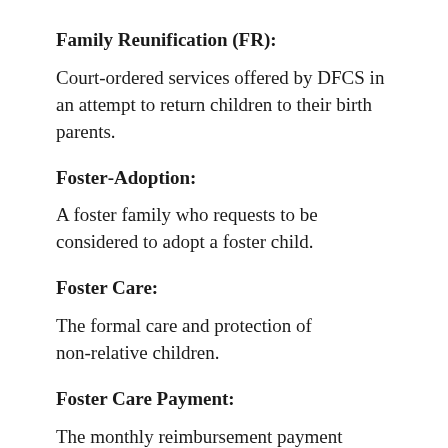Family Reunification (FR):
Court-ordered services offered by DFCS in an attempt to return children to their birth parents.
Foster-Adoption:
A foster family who requests to be considered to adopt a foster child.
Foster Care:
The formal care and protection of non-relative children.
Foster Care Payment:
The monthly reimbursement payment received by foster parents for the care of foster children. Foster care payments are